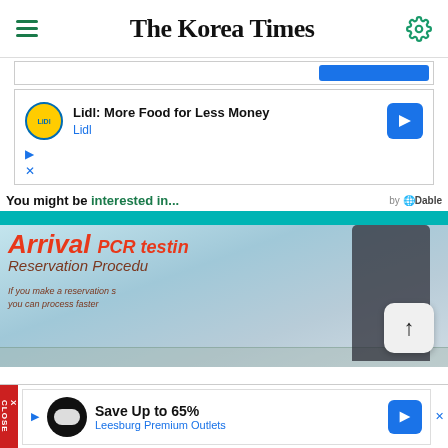The Korea Times
[Figure (screenshot): Lidl advertisement: 'Lidl: More Food for Less Money' with Lidl logo and navigation arrow icon]
You might be interested in... by Dable
[Figure (photo): Airport interior photo showing 'Arrival PCR testing Reservation Procedure' signage with people in background]
[Figure (screenshot): Bottom advertisement: 'Save Up to 65% Leesburg Premium Outlets' with logo and navigation arrow]